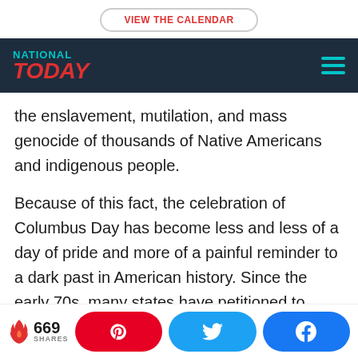VIEW THE CALENDAR
NATIONAL TODAY
the enslavement, mutilation, and mass genocide of thousands of Native Americans and indigenous people.
Because of this fact, the celebration of Columbus Day has become less and less of a day of pride and more of a painful reminder to a dark past in American history. Since the early 70s, many states have petitioned to have the name changed to
669 SHARES